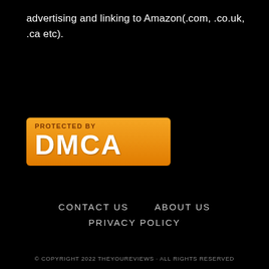advertising and linking to Amazon(.com, .co.uk, .ca etc).
[Figure (logo): Protected by DMCA badge — orange rounded rectangle with 'PROTECTED BY' in small caps and 'DMCA' in large white bold letters]
CONTACT US   ABOUT US
PRIVACY POLICY
© COPYRIGHT 2022 THEYOUREVIEWS · ALL RIGHTS RESERVED